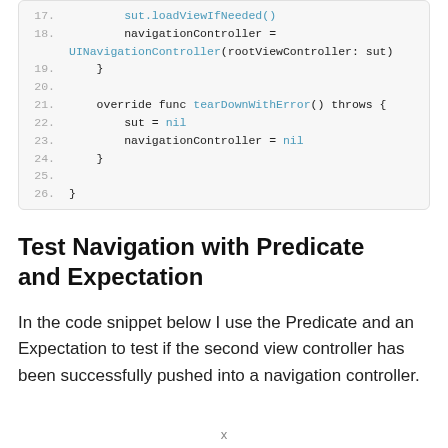[Figure (screenshot): Code snippet showing Swift code lines 17-26 with line numbers. Lines include sut.loadViewIfNeeded(), navigationController = UINavigationController(rootViewController: sut), closing brace, blank line, override func tearDownWithError() throws {, sut = nil, navigationController = nil, closing brace, blank line, closing brace.]
Test Navigation with Predicate and Expectation
In the code snippet below I use the Predicate and an Expectation to test if the second view controller has been successfully pushed into a navigation controller.
x